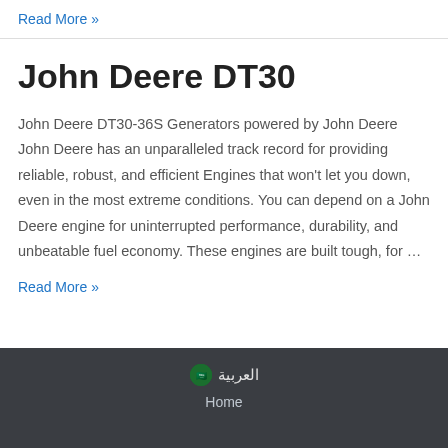Read More »
John Deere DT30
John Deere DT30-36S Generators powered by John Deere John Deere has an unparalleled track record for providing reliable, robust, and efficient Engines that won't let you down, even in the most extreme conditions. You can depend on a John Deere engine for uninterrupted performance, durability, and unbeatable fuel economy. These engines are built tough, for …
Read More »
العربية  Home
Home